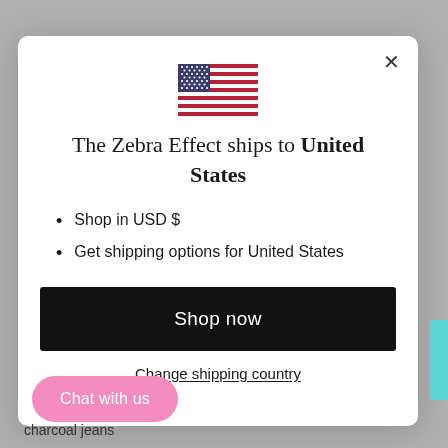[Figure (illustration): US flag SVG icon centered at top of modal dialog]
The Zebra Effect ships to United States
Shop in USD $
Get shipping options for United States
Shop now
Change shipping country
Chat with us
charcoal jeans